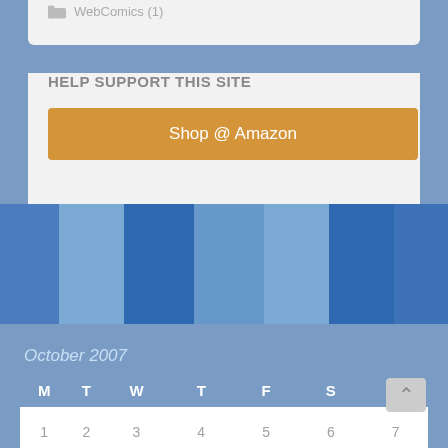WebComics (1)
HELP SUPPORT THIS SITE
Shop @ Amazon
[Figure (other): Decorative blue column bars of varying shades]
October 2007
| M | T | W | T | F | S | S |
| --- | --- | --- | --- | --- | --- | --- |
| 1 | 2 | 3 | 4 | 5 | 6 | 7 |
| 8 | 9 | 10 | 11 | 12 | 13 | 14 |